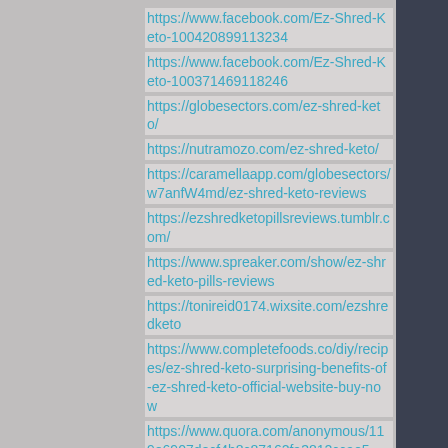https://www.facebook.com/Ez-Shred-Keto-100420899113234
https://www.facebook.com/Ez-Shred-Keto-100371469118246
https://globesectors.com/ez-shred-keto/
https://nutramozo.com/ez-shred-keto/
https://caramellaapp.com/globesectors/w7anfW4md/ez-shred-keto-reviews
https://ezshredketopillsreviews.tumblr.com/
https://www.spreaker.com/show/ez-shred-keto-pills-reviews
https://tonireid0174.wixsite.com/ezshredketo
https://www.completefoods.co/diy/recipes/ez-shred-keto-surprising-benefits-of-ez-shred-keto-official-website-buy-now
https://www.quora.com/anonymous/119e6907decf4b8c87162fa3812ccae5
https://ez-shred-keto-reviews.jimdosite.com/
https://sites.google.com/view/ex-shred-keto/home?authuser=1
https://issuu.com/sazambab/docs/ez_shred_